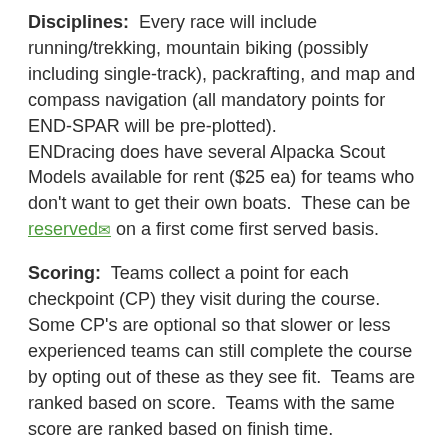Disciplines: Every race will include running/trekking, mountain biking (possibly including single-track), packrafting, and map and compass navigation (all mandatory points for END-SPAR will be pre-plotted). ENDracing does have several Alpacka Scout Models available for rent ($25 ea) for teams who don't want to get their own boats. These can be reserved on a first come first served basis.
Scoring: Teams collect a point for each checkpoint (CP) they visit during the course. Some CP's are optional so that slower or less experienced teams can still complete the course by opting out of these as they see fit. Teams are ranked based on score. Teams with the same score are ranked based on finish time.
Refund Policy: Sorry, there are no refunds of your registration fee if the race happens. In event of severe weather, a modified course may be offered